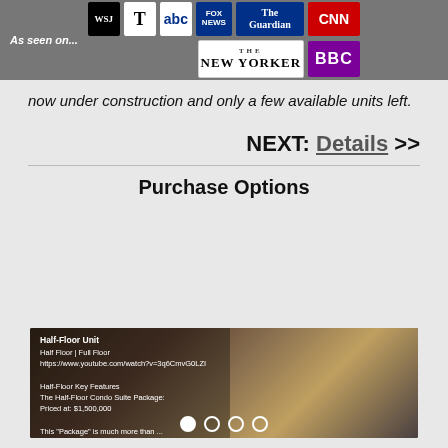[Figure (other): As seen on... logos: WSJ, New York Times, ABC, Fox News, The Guardian, CNN, The New Yorker, BBC]
now under construction and only a few available units left.
NEXT: Details >>
Purchase Options
[Figure (photo): Half-Floor Unit kitchen photo with overlay text: Half-Floor Unit, Half Floor | Full Floor, https://www.youtube.com/watch?v=3q6CmvG0LZI, Half-Floor Key Features, The Half-Floor Condo Suite Package:, Priced at: $1,500,000, This 'Package' is much more than ...]
Half-Floor Unit | Half Floor | Full Floor | https://www.youtube.com/watch?v=3q6CmvG0LZI | Half-Floor Key Features | The Half-Floor Condo Suite Package: | Priced at: $1,500,000 | This "Package" is much more than ...